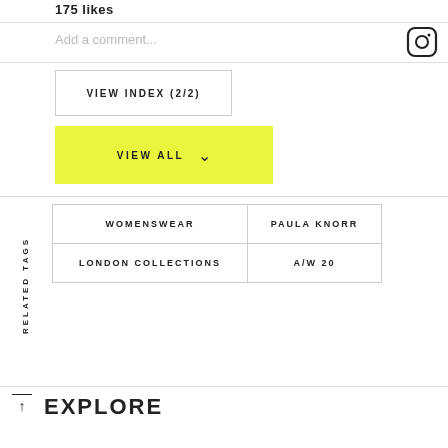175 likes
Add a comment...
VIEW INDEX (2/2)
VIEW ALL
| WOMENSWEAR | PAULA KNORR |
| LONDON COLLECTIONS | A/W 20 |
RELATED TAGS
EXPLORE